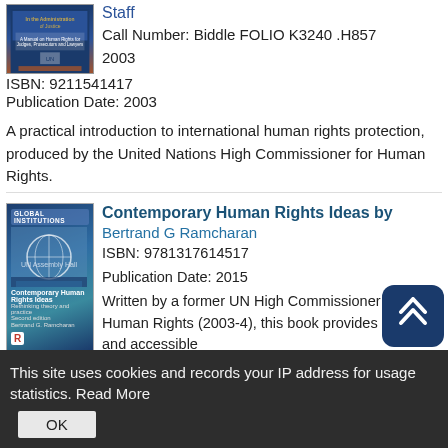Staff
Call Number: Biddle FOLIO K3240 .H857 2003
ISBN: 9211541417
Publication Date: 2003
A practical introduction to international human rights protection, produced by the United Nations High Commissioner for Human Rights.
Contemporary Human Rights Ideas by Bertrand G Ramcharan
ISBN: 9781317614517
Publication Date: 2015
Written by a former UN High Commissioner for Human Rights (2003-4), this book provides a short and accessible introduction to the foundational human rights ideas of our
This site uses cookies and records your IP address for usage statistics. Read More  OK